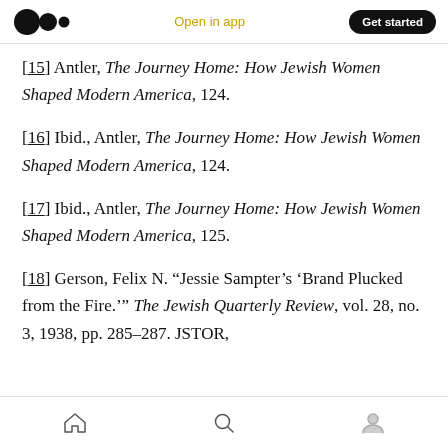Medium app header with logo, Open in app, Get started
[15] Antler, The Journey Home: How Jewish Women Shaped Modern America, 124.
[16] Ibid., Antler, The Journey Home: How Jewish Women Shaped Modern America, 124.
[17] Ibid., Antler, The Journey Home: How Jewish Women Shaped Modern America, 125.
[18] Gerson, Felix N. “Jessie Sampter’s ‘Brand Plucked from the Fire.’” The Jewish Quarterly Review, vol. 28, no. 3, 1938, pp. 285–287. JSTOR,
Bottom navigation bar with home, search, and profile icons